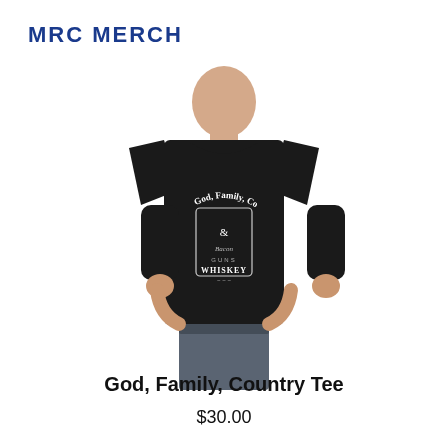MRC MERCH
[Figure (photo): Young male model wearing a black crew-neck t-shirt with a graphic print reading 'God, Family, Country & Bacon Guns Whiskey' in a western whiskey-label style design.]
God, Family, Country Tee
$30.00